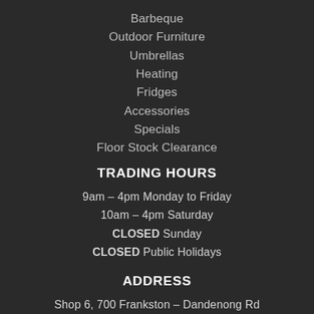Barbeque
Outdoor Furniture
Umbrellas
Heating
Fridges
Accessories
Specials
Floor Stock Clearance
TRADING HOURS
9am – 4pm Monday to Friday
10am – 4pm Saturday
CLOSED Sunday
CLOSED Public Holidays
ADDRESS
Shop 6, 700 Frankston – Dandenong Rd